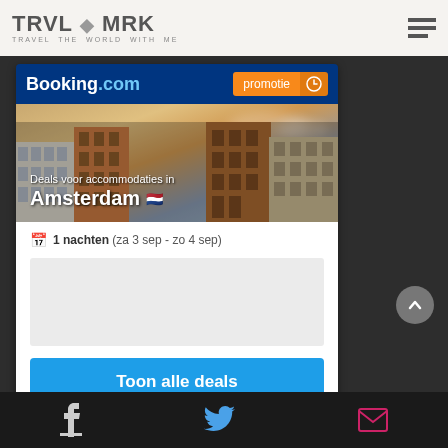TRVL MRK — TRAVEL THE WORLD WITH ME
[Figure (screenshot): Booking.com promotional widget for Amsterdam hotel deals. Shows the Booking.com logo, a promotie badge, a photo of Amsterdam canal houses, text 'Deals voor accommodaties in Amsterdam' with Dutch flag, '1 nachten (za 3 sep - zo 4 sep)', and a 'Toon alle deals' button.]
Facebook | Twitter | Email social icons